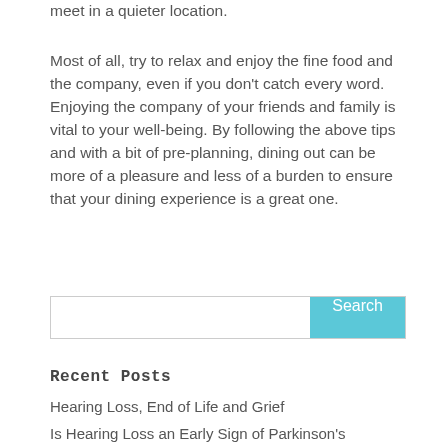meet in a quieter location.
Most of all, try to relax and enjoy the fine food and the company, even if you don’t catch every word. Enjoying the company of your friends and family is vital to your well-being. By following the above tips and with a bit of pre-planning, dining out can be more of a pleasure and less of a burden to ensure that your dining experience is a great one.
Search
Recent Posts
Hearing Loss, End of Life and Grief
Is Hearing Loss an Early Sign of Parkinson's Disease?